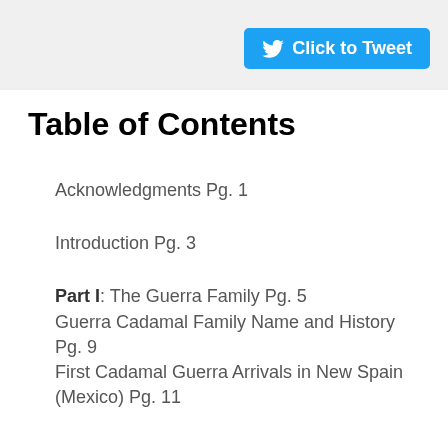[Figure (other): Twitter Click to Tweet button on a light gray banner background]
Table of Contents
Acknowledgments Pg. 1
Introduction Pg. 3
Part I: The Guerra Family Pg. 5
Guerra Cadamal Family Name and History Pg. 9
First Cadamal Guerra Arrivals in New Spain (Mexico) Pg. 11